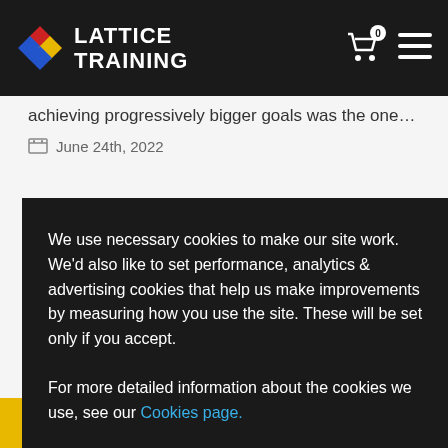LATTICE TRAINING
achieving progressively bigger goals was the one...
June 24th, 2022
We use necessary cookies to make our site work. We'd also like to set performance, analytics & advertising cookies that help us make improvements by measuring how you use the site. These will be set only if you accept.

For more detailed information about the cookies we use, see our Cookies page.
Accept All
Reject All (non-necessary)
Cookie settings